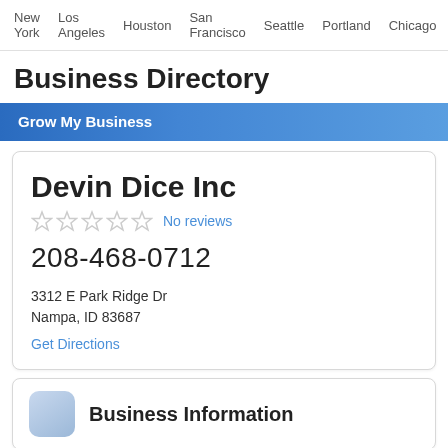New York   Los Angeles   Houston   San Francisco   Seattle   Portland   Chicago
Business Directory
Grow My Business
Devin Dice Inc
No reviews
208-468-0712
3312 E Park Ridge Dr
Nampa, ID 83687
Get Directions
Business Information